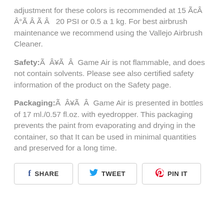adjustment for these colors is recommended at 15 ÃcÂ Â°Ã Â Ã Â  20 PSI or 0.5 a 1 kg. For best airbrush maintenance we recommend using the Vallejo Airbrush Cleaner.
Safety:Ã Â¥Ã Â Game Air is not flammable, and does not contain solvents. Please see also certified safety information of the product on the Safety page.
Packaging:Ã Â¥Ã Â Game Air is presented in bottles of 17 ml./0.57 fl.oz. with eyedropper. This packaging prevents the paint from evaporating and drying in the container, so that It can be used in minimal quantities and preserved for a long time.
[Figure (other): Social sharing buttons: Facebook Share, Twitter Tweet, Pinterest Pin It]